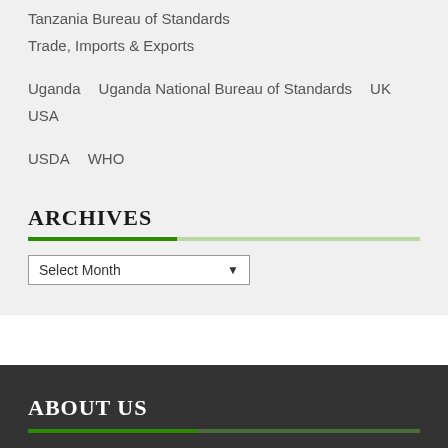Tanzania Bureau of Standards   Trade, Imports & Exports
Uganda   Uganda National Bureau of Standards   UK   USA
USDA   WHO
ARCHIVES
Select Month
ABOUT US
We organise some of the most impactful face to face and virtual trade events and publish leading magazines and